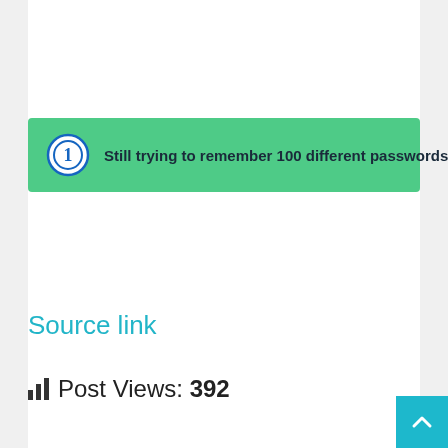[Figure (screenshot): 1Password advertisement banner with green background, 1Password logo, text 'Still trying to remember 100 different passwords?' and a 'Try 1Password' button]
Source link
Post Views: 392